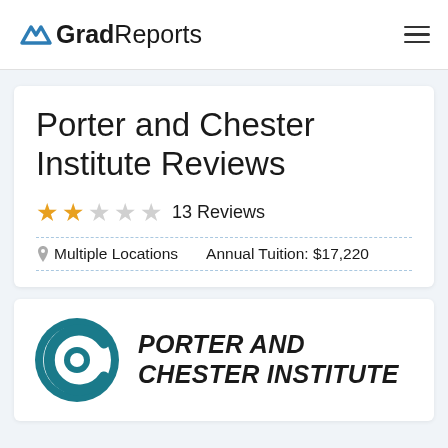GradReports
Porter and Chester Institute Reviews
★★☆☆☆ 13 Reviews
Multiple Locations   Annual Tuition: $17,220
[Figure (logo): Porter and Chester Institute logo — circular teal icon with stylized P and C, with bold italic text reading PORTER AND CHESTER INSTITUTE]